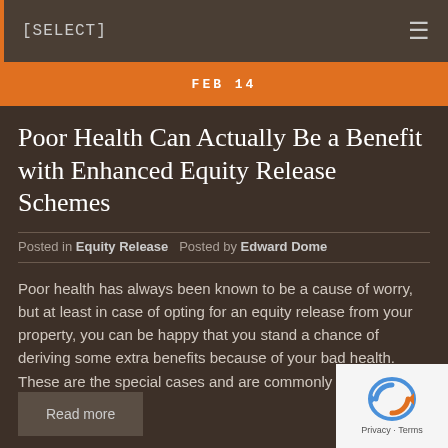[SELECT]
FEB 14
Poor Health Can Actually Be a Benefit with Enhanced Equity Release Schemes
Posted in Equity Release   Posted by Edward Dome
Poor health has always been known to be a cause of worry, but at least in case of opting for an equity release from your property, you can be happy that you stand a chance of deriving some extra benefits because of your bad health. These are the special cases and are commonly known as [...]
Read more